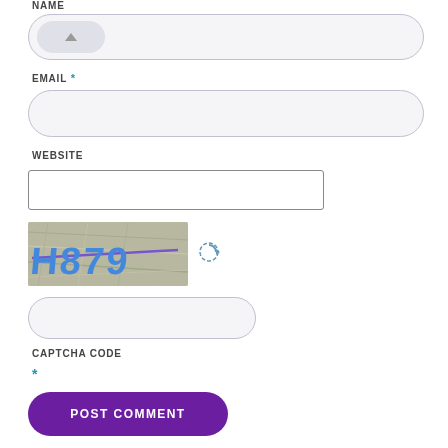NAME
[Figure (screenshot): Text input field with rounded corners for NAME, partially cut off at top]
EMAIL *
[Figure (screenshot): Text input field with rounded corners for EMAIL]
WEBSITE
[Figure (screenshot): Text input field with rectangular corners for WEBSITE]
[Figure (screenshot): CAPTCHA image showing handwritten-style text 'H879' with purple/blue coloring and a refresh icon]
[Figure (screenshot): Text input field with rounded corners for CAPTCHA code entry]
CAPTCHA CODE
*
[Figure (screenshot): POST COMMENT button with purple rounded rectangle background]